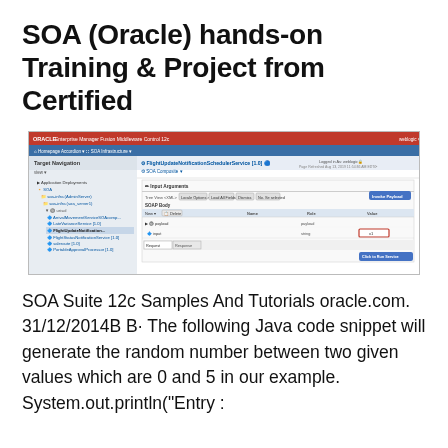SOA (Oracle) hands-on Training & Project from Certified
[Figure (screenshot): Oracle Enterprise Manager screenshot showing FlightUpdateNotificationSchedulerService [1.0] with Target Navigation panel on left, SOAP Body input arguments and test interface on right.]
SOA Suite 12c Samples And Tutorials oracle.com. 31/12/2014B B· The following Java code snippet will generate the random number between two given values which are 0 and 5 in our example. System.out.println("Entry :